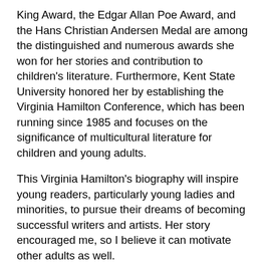King Award, the Edgar Allan Poe Award, and the Hans Christian Andersen Medal are among the distinguished and numerous awards she won for her stories and contribution to children's literature. Furthermore, Kent State University honored her by establishing the Virginia Hamilton Conference, which has been running since 1985 and focuses on the significance of multicultural literature for children and young adults.
This Virginia Hamilton's biography will inspire young readers, particularly young ladies and minorities, to pursue their dreams of becoming successful writers and artists. Her story encouraged me, so I believe it can motivate other adults as well.
I loved the fact that Julie K. Rubini researched Virginia's life with the beautiful awareness that she was writing about someone whose story could arouse the dreams of aspiring young writers and artists who might think it is impossible to become larger than life because of their background, race, ethnic group, gender, or heritage.
Also, this biography is an excellent resource for